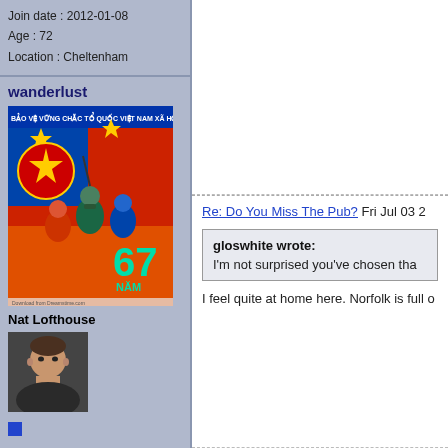Join date : 2012-01-08
Age : 72
Location : Cheltenham
wanderlust
[Figure (illustration): Vietnamese military propaganda poster with soldiers, red background, yellow stars, text 'BẢO VỆ VỮNG CHẮC TỔ QUỐC VIỆT NAM XÃ HỘI CHỦ NGH...' and '67 NĂM']
Nat Lofthouse
[Figure (photo): Small avatar photo of a man with short hair]
Posts : 22124
Join date : 2012-01-12
Re: Do You Miss The Pub? Fri Jul 03 2...
gloswhite wrote:
I'm not surprised you've chosen tha...
I feel quite at home here. Norfolk is full o...